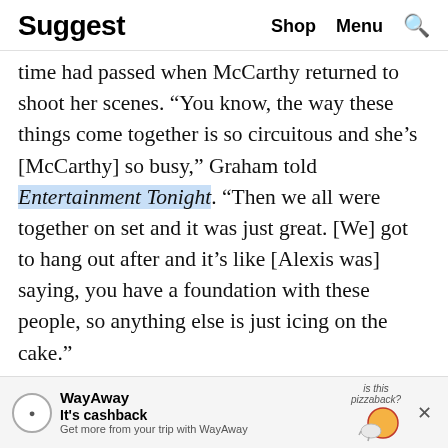Suggest   Shop   Menu
time had passed when McCarthy returned to shoot her scenes. “You know, the way these things come together is so circuitous and she’s [McCarthy] so busy,” Graham told Entertainment Tonight. “Then we all were together on set and it was just great. [We] got to hang out after and it’s like [Alexis was] saying, you have a foundation with these people, so anything else is just icing on the cake.”
Are They Still Friends Today?
[Figure (other): WayAway advertisement banner: 'It’s cashback - Get more from your trip with WayAway' with pizza illustration and 'is this pizzaback?' text]